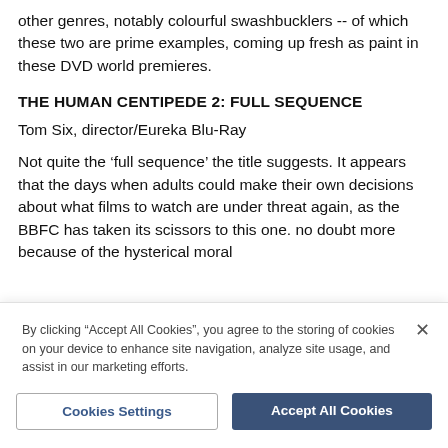other genres, notably colourful swashbucklers -- of which these two are prime examples, coming up fresh as paint in these DVD world premieres.
THE HUMAN CENTIPEDE 2: FULL SEQUENCE
Tom Six, director/Eureka Blu-Ray
Not quite the ‘full sequence’ the title suggests. It appears that the days when adults could make their own decisions about what films to watch are under threat again, as the BBFC has taken its scissors to this one. no doubt more because of the hysterical moral
By clicking “Accept All Cookies”, you agree to the storing of cookies on your device to enhance site navigation, analyze site usage, and assist in our marketing efforts.